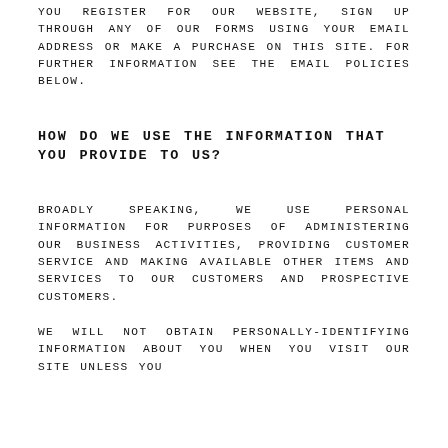YOU REGISTER FOR OUR WEBSITE, SIGN UP THROUGH ANY OF OUR FORMS USING YOUR EMAIL ADDRESS OR MAKE A PURCHASE ON THIS SITE. FOR FURTHER INFORMATION SEE THE EMAIL POLICIES BELOW.
HOW DO WE USE THE INFORMATION THAT YOU PROVIDE TO US?
BROADLY SPEAKING, WE USE PERSONAL INFORMATION FOR PURPOSES OF ADMINISTERING OUR BUSINESS ACTIVITIES, PROVIDING CUSTOMER SERVICE AND MAKING AVAILABLE OTHER ITEMS AND SERVICES TO OUR CUSTOMERS AND PROSPECTIVE CUSTOMERS.
WE WILL NOT OBTAIN PERSONALLY-IDENTIFYING INFORMATION ABOUT YOU WHEN YOU VISIT OUR SITE UNLESS YOU